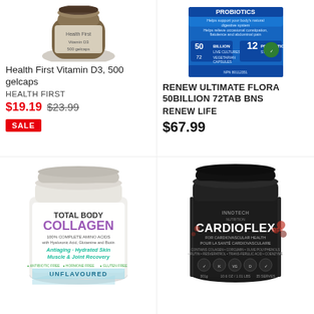[Figure (photo): Health First Vitamin D3 bottle top portion visible]
Health First Vitamin D3, 500 gelcaps
HEALTH FIRST
$19.19 $23.99
SALE
[Figure (photo): Renew Life Ultimate Flora 50 Billion probiotic box]
RENEW ULTIMATE FLORA 50BILLION 72TAB BNS
RENEW LIFE
$67.99
[Figure (photo): Total Body Collagen white tub unflavoured]
[Figure (photo): Innotech Cardioflex Q10 dark tub]